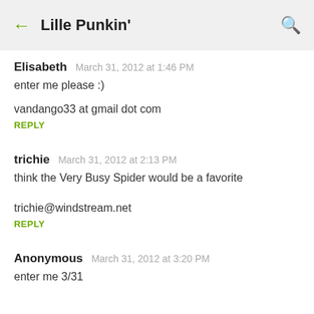Lille Punkin'
Elisabeth  March 31, 2012 at 1:46 PM
enter me please :)
vandango33 at gmail dot com
REPLY
trichie  March 31, 2012 at 2:13 PM
think the Very Busy Spider would be a favorite

trichie@windstream.net
REPLY
Anonymous  March 31, 2012 at 3:20 PM
enter me  3/31